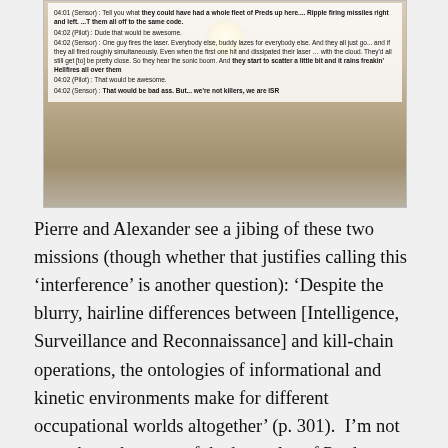[Figure (screenshot): Screenshot of a transcript overlaid on a desert/aerial photograph showing figures on the ground. The transcript contains dialogue between Sensor and Pilot operators discussing drone strike scenarios.]
Pierre and Alexander see a jibing of these two missions (though whether that justifies calling this 'interference' is another question): 'Despite the blurry, hairline differences between [Intelligence, Surveillance and Reconnaissance] and kill-chain operations, the ontologies of informational and kinetic environments make for different occupational worlds altogether' (p. 301).  I'm not sure about that; one of the key roles of Predators – as in this case – has been to mediate strikes carried out by other aircraft, and while those mediations are frequently complicated and fractured (as Pierre and Alexander's inventory shows) I don't think